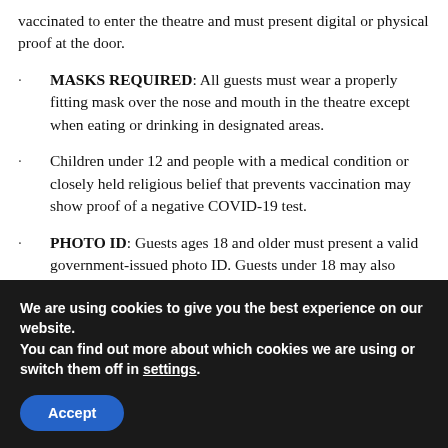vaccinated to enter the theatre and must present digital or physical proof at the door.
MASKS REQUIRED: All guests must wear a properly fitting mask over the nose and mouth in the theatre except when eating or drinking in designated areas.
Children under 12 and people with a medical condition or closely held religious belief that prevents vaccination may show proof of a negative COVID-19 test.
PHOTO ID: Guests ages 18 and older must present a valid government-issued photo ID. Guests under 18 may also show a school photo ID. Guests under 12 must be accompanied by an adult who meets the above requirements.
We are using cookies to give you the best experience on our website.
You can find out more about which cookies we are using or switch them off in settings.